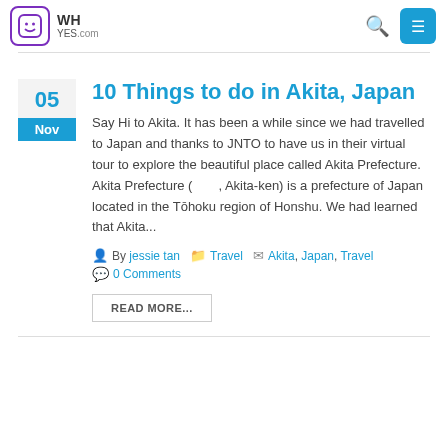WH YES.com
10 Things to do in Akita, Japan
Say Hi to Akita. It has been a while since we had travelled to Japan and thanks to JNTO to have us in their virtual tour to explore the beautiful place called Akita Prefecture. Akita Prefecture (　　, Akita-ken) is a prefecture of Japan located in the Tōhoku region of Honshu. We had learned that Akita...
By jessie tan   Travel   Akita, Japan, Travel   0 Comments
READ MORE...